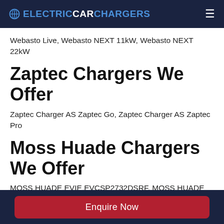ELECTRICCARCHARGERS
Webasto Live, Webasto NEXT 11kW, Webasto NEXT 22kW
Zaptec Chargers We Offer
Zaptec Charger AS Zaptec Go, Zaptec Charger AS Zaptec Pro
Moss Huade Chargers We Offer
MOSS HUADE EVIE EVCSP2732DSRF, MOSS HUADE EVIE EVCSP316SHAG, MOSS HUADE
Enquire Now